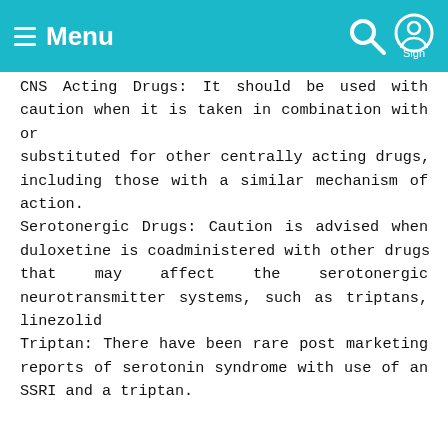Menu | Search | Sign
CNS Acting Drugs: It should be used with caution when it is taken in combination with or substituted for other centrally acting drugs, including those with a similar mechanism of action.
Serotonergic Drugs: Caution is advised when duloxetine is coadministered with other drugs that may affect the serotonergic neurotransmitter systems, such as triptans, linezolid
Triptan: There have been rare post marketing reports of serotonin syndrome with use of an SSRI and a triptan.